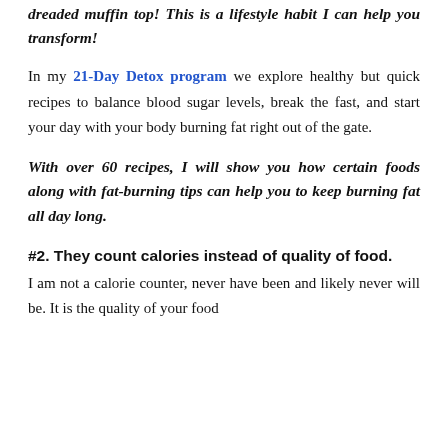dreaded muffin top! This is a lifestyle habit I can help you transform!
In my 21-Day Detox program we explore healthy but quick recipes to balance blood sugar levels, break the fast, and start your day with your body burning fat right out of the gate.
With over 60 recipes, I will show you how certain foods along with fat-burning tips can help you to keep burning fat all day long.
#2. They count calories instead of quality of food.
I am not a calorie counter, never have been and likely never will be. It is the quality of your food